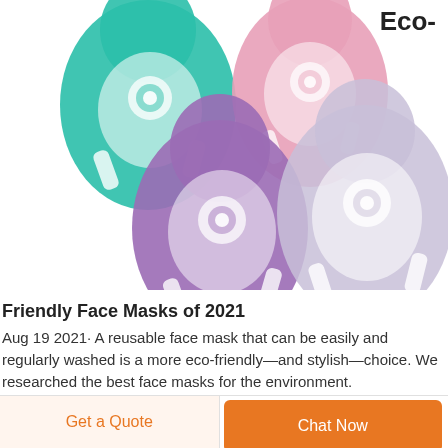[Figure (photo): Four colorful reusable silicone face masks arranged on a white background: teal/green (top left), pink (top right), purple (bottom left), light lavender/clear (bottom right). Each mask is teardrop-shaped with a circular filter area and straps.]
Eco-Friendly Face Masks of 2021
Aug 19 2021· A reusable face mask that can be easily and regularly washed is a more eco-friendly—and stylish—choice. We researched the best face masks for the environment.
Get a Quote
Chat Now